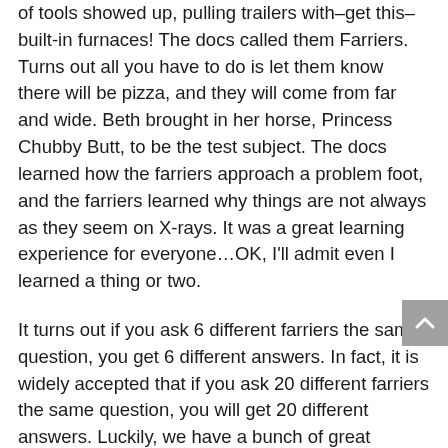of tools showed up, pulling trailers with–get this–built-in furnaces! The docs called them Farriers. Turns out all you have to do is let them know there will be pizza, and they will come from far and wide. Beth brought in her horse, Princess Chubby Butt, to be the test subject. The docs learned how the farriers approach a problem foot, and the farriers learned why things are not always as they seem on X-rays. It was a great learning experience for everyone…OK, I'll admit even I learned a thing or two.
It turns out if you ask 6 different farriers the same question, you get 6 different answers. In fact, it is widely accepted that if you ask 20 different farriers the same question, you will get 20 different answers. Luckily, we have a bunch of great farriers in our area, and although they may have different opinions about the right way to approach a